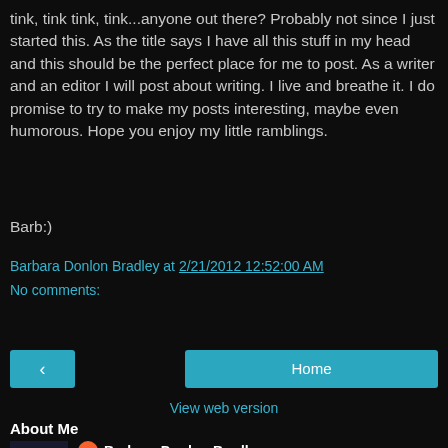tink, tink tink, tink...anyone out there? Probably not since I just started this. As the title says I have all this stuff in my head and this should be the perfect place for me to post. As a writer and an editor I will post about writing. I live and breathe it. I do promise to try to make my posts interesting, maybe even humorous. Hope you enjoy my little ramblings.
Barb:)
Barbara Donlon Bradley at 2/21/2012 12:52:00 AM
No comments:
Share
< Home
View web version
About Me
Barbara Donlon Bradley
Writing for Barbara Donlon Bradley started innocently